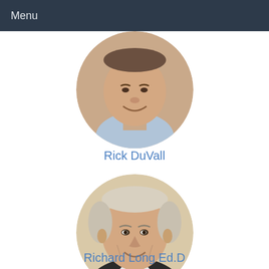Menu
[Figure (photo): Circular cropped photo of Rick DuVall, a smiling man, partially cropped at top]
Rick DuVall
[Figure (photo): Circular cropped photo of Richard Long Ed.D, a smiling older man with grey hair wearing a dark suit]
Richard Long Ed.D